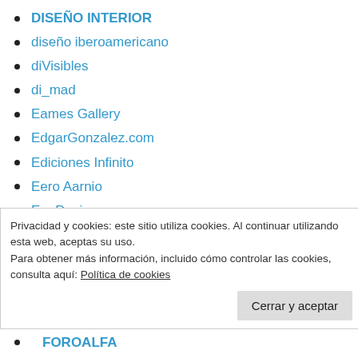DISEÑO INTERIOR
diseño iberoamericano
diVisibles
di_mad
Eames Gallery
EdgarGonzalez.com
Ediciones Infinito
Eero Aarnio
EgoDesign
el ojo salvaje
Enciclográfica
Privacidad y cookies: este sitio utiliza cookies. Al continuar utilizando esta web, aceptas su uso.
Para obtener más información, incluido cómo controlar las cookies, consulta aquí: Política de cookies
FOROALFA